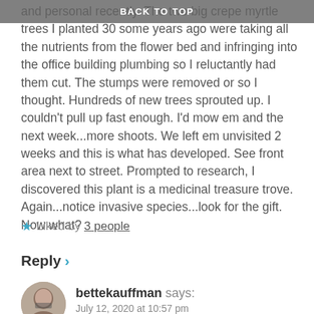BACK TO TOP
and personal recently. The two big crepe myrtle trees I planted 30 some years ago were taking all the nutrients from the flower bed and infringing into the office building plumbing so I reluctantly had them cut. The stumps were removed or so I thought. Hundreds of new trees sprouted up. I couldn't pull up fast enough. I'd mow em and the next week...more shoots. We left em unvisited 2 weeks and this is what has developed. See front area next to street. Prompted to research, I discovered this plant is a medicinal treasure trove. Again...notice invasive species...look for the gift. Now what?
★ Liked by 3 people
Reply ›
bettekauffman says:
July 12, 2020 at 10:57 pm